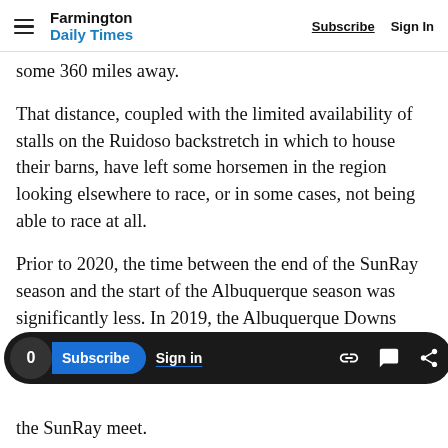Farmington Daily Times  Subscribe  Sign In
some 360 miles away.
That distance, coupled with the limited availability of stalls on the Ruidoso backstretch in which to house their barns, have left some horsemen in the region looking elsewhere to race, or in some cases, not being able to race at all.
Prior to 2020, the time between the end of the SunRay season and the start of the Albuquerque season was significantly less. In 2019, the Albuquerque Downs season started on the SunRay meet.